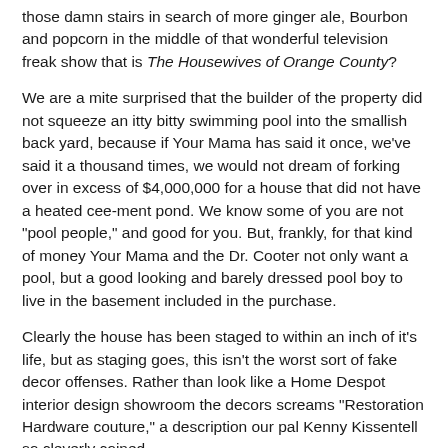those damn stairs in search of more ginger ale, Bourbon and popcorn in the middle of that wonderful television freak show that is The Housewives of Orange County?
We are a mite surprised that the builder of the property did not squeeze an itty bitty swimming pool into the smallish back yard, because if Your Mama has said it once, we've said it a thousand times, we would not dream of forking over in excess of $4,000,000 for a house that did not have a heated cee-ment pond. We know some of you are not "pool people," and good for you. But, frankly, for that kind of money Your Mama and the Dr. Cooter not only want a pool, but a good looking and barely dressed pool boy to live in the basement included in the purchase.
Clearly the house has been staged to within an inch of it's life, but as staging goes, this isn't the worst sort of fake decor offenses. Rather than look like a Home Despot interior design showroom the decors screams "Restoration Hardware couture," a description our pal Kenny Kissentell so cleverly coined.